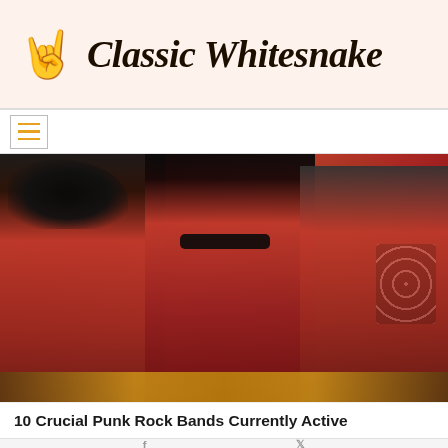Classic Whitesnake
[Figure (photo): Three men wearing red suits posing together; likely a band photo with guitars visible at bottom]
10 Crucial Punk Rock Bands Currently Active
Facebook and Twitter social share icons